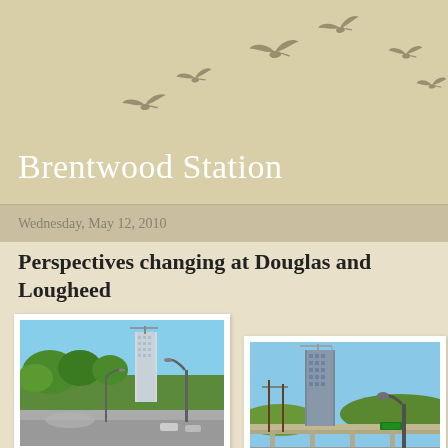Brentwood Station
Wednesday, May 12, 2010
Perspectives changing at Douglas and Lougheed
[Figure (photo): Street-level photo showing a high-rise tower under construction, green trees, a street lamp, and blue sky at Douglas and Lougheed area]
[Figure (photo): Second street-level photo showing a tall high-rise building under construction with cranes, a SkyTrain guideway, street lamp, and blue sky]